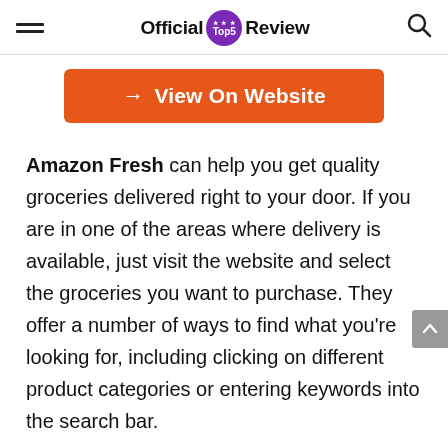Official Top5 Review
[Figure (other): Orange button with arrow and text 'View On Website']
Amazon Fresh can help you get quality groceries delivered right to your door. If you are in one of the areas where delivery is available, just visit the website and select the groceries you want to purchase. They offer a number of ways to find what you're looking for, including clicking on different product categories or entering keywords into the search bar.